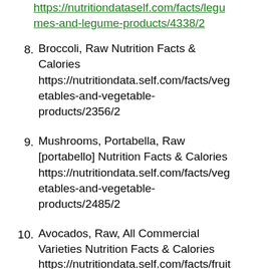(continued URL) https://nutritiondataself.com/facts/legumes-and-legume-products/4338/2
8. Broccoli, Raw Nutrition Facts & Calories https://nutritiondata.self.com/facts/vegetables-and-vegetable-products/2356/2
9. Mushrooms, Portabella, Raw [portabello] Nutrition Facts & Calories https://nutritiondata.self.com/facts/vegetables-and-vegetable-products/2485/2
10. Avocados, Raw, All Commercial Varieties Nutrition Facts & Calories https://nutritiondata.self.com/facts/fruits-and-fruit-juices/1843/2
11. Potato Flesh... (partial, cut off)